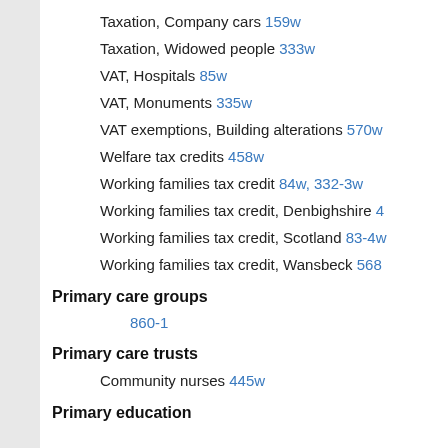Taxation, Company cars 159w
Taxation, Widowed people 333w
VAT, Hospitals 85w
VAT, Monuments 335w
VAT exemptions, Building alterations 570w
Welfare tax credits 458w
Working families tax credit 84w, 332-3w
Working families tax credit, Denbighshire 4
Working families tax credit, Scotland 83-4w
Working families tax credit, Wansbeck 568
Primary care groups
860-1
Primary care trusts
Community nurses 445w
Primary education